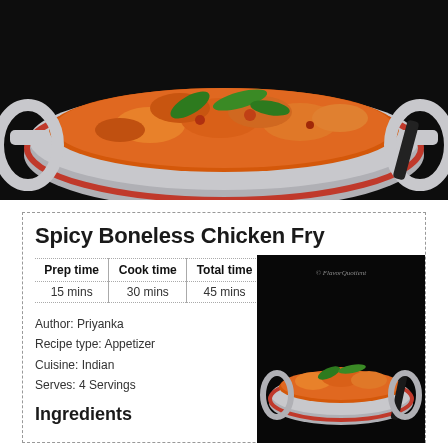[Figure (photo): Photo of spicy boneless chicken fry in a silver balti/kadai dish, garnished with curry leaves on a dark background]
Spicy Boneless Chicken Fry
| Prep time | Cook time | Total time |
| --- | --- | --- |
| 15 mins | 30 mins | 45 mins |
Author: Priyanka
Recipe type: Appetizer
Cuisine: Indian
Serves: 4 Servings
Ingredients
[Figure (photo): Second photo of spicy boneless chicken fry in silver balti dish with curry leaves, dark background, watermark © FlavorQuotient]